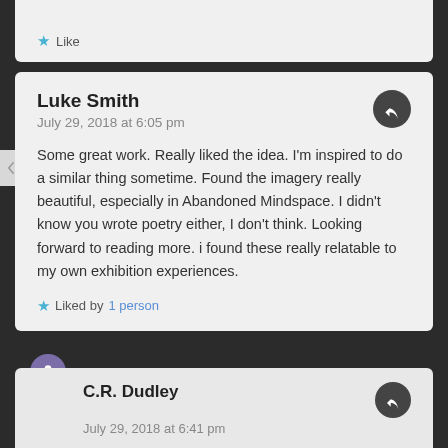Like
Luke Smith
July 29, 2018 at 6:05 pm
Some great work. Really liked the idea. I'm inspired to do a similar thing sometime. Found the imagery really beautiful, especially in Abandoned Mindspace. I didn't know you wrote poetry either, I don't think. Looking forward to reading more. i found these really relatable to my own exhibition experiences.
Liked by 1 person
C.R. Dudley
July 29, 2018 at 6:41 pm